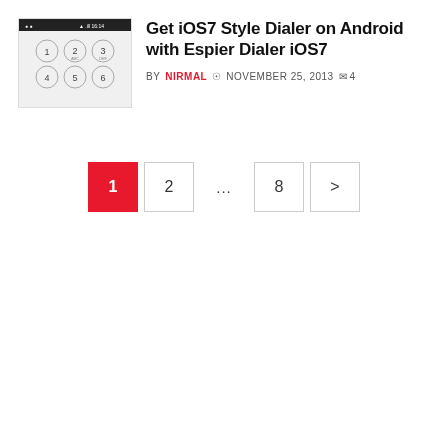[Figure (screenshot): Thumbnail screenshot of an Android phone showing an iOS7-style dialer with numbered circle buttons arranged in a grid (1, 2, 3, 4, 5, 6...) on a light background with a dark status bar at the top.]
Get iOS7 Style Dialer on Android with Espier Dialer iOS7
BY NIRMAL  © NOVEMBER 25, 2013  ✉ 4
1  2  ...  8  >